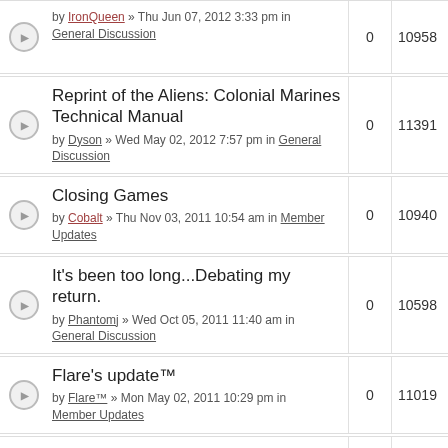by IronQueen » Thu Jun 07, 2012 3:33 pm in General Discussion | 0 | 10958
Reprint of the Aliens: Colonial Marines Technical Manual
by Dyson » Wed May 02, 2012 7:57 pm in General Discussion | 0 | 11391
Closing Games
by Cobalt » Thu Nov 03, 2011 10:54 am in Member Updates | 0 | 10940
It's been too long...Debating my return.
by Phantomj » Wed Oct 05, 2011 11:40 am in General Discussion | 0 | 10598
Flare's update™
by Flare™ » Mon May 02, 2011 10:29 pm in Member Updates | 0 | 11019
An Oldie But a Goodie
by Koenshaku » Fri Apr 01, 2011 5:54 pm in General Discussion | 0 | 10551